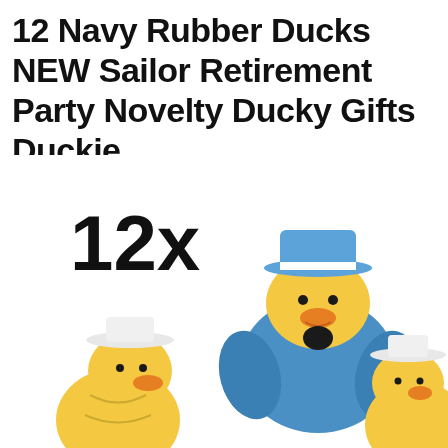12 Navy Rubber Ducks NEW Sailor Retirement Party Novelty Ducky Gifts Duckie
[Figure (photo): Three rubber ducks dressed as navy sailors. A large blue rubber duck wearing a blue captain's hat is in the center-right. Two smaller yellow rubber ducks wearing white sailor hats are on the left and right sides, partially cropped. A large bold '12x' label appears on the left side of the image.]